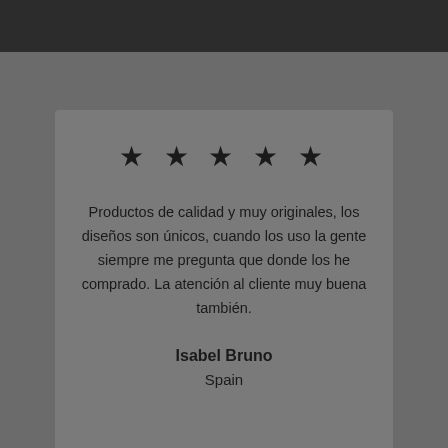[Figure (other): Dark top navigation/header bar]
★ ★ ★ ★ ★
Productos de calidad y muy originales, los diseños son únicos, cuando los uso la gente siempre me pregunta que donde los he comprado. La atención al cliente muy buena también.
Isabel Bruno
Spain
[Figure (illustration): Blue speech bubble / chat icon in a circular white badge]